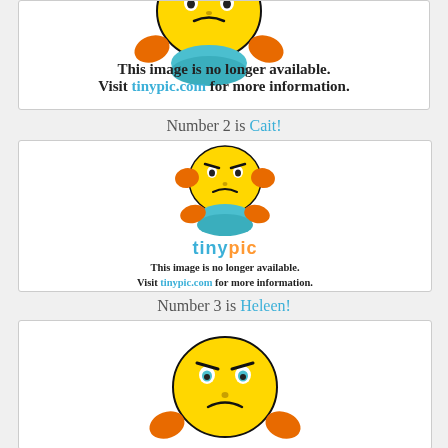[Figure (illustration): Tinypic placeholder image (clipped at top) showing a yellow emoji character with a frowning expression and hands on hips, the tinypic logo, and text: 'This image is no longer available. Visit tinypic.com for more information.']
Number 2 is Cait!
[Figure (illustration): Tinypic placeholder image showing a yellow emoji character with a frowning expression and hands on hips, the tinypic logo, and text: 'This image is no longer available. Visit tinypic.com for more information.']
Number 3 is Heleen!
[Figure (illustration): Partially visible tinypic placeholder image showing a yellow emoji character (cropped, only top visible) with a frowning expression and hands on hips.]